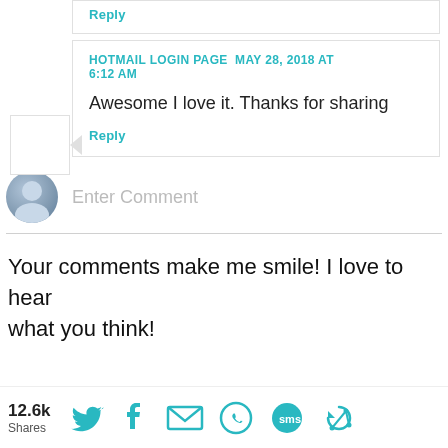Reply
HOTMAIL LOGIN PAGE  MAY 28, 2018 AT 6:12 AM
Awesome I love it. Thanks for sharing
Reply
Enter Comment
Your comments make me smile! I love to hear what you think!
12.6k Shares